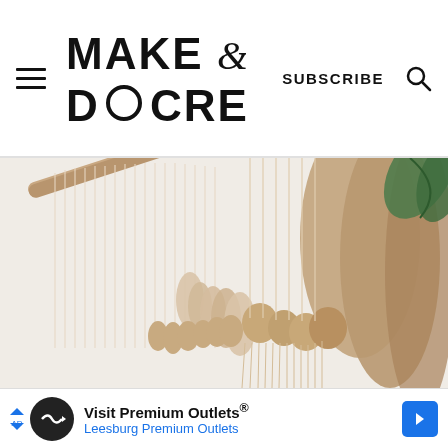Make & Do Crew — SUBSCRIBE
[Figure (photo): Close-up photo of a macramé wall hanging with cream/beige yarn tassels arranged in a fringe pattern, hanging from a wooden dowel. Some green plant leaves visible in the top-right corner. Soft, warm neutral tones on a light background.]
Visit Premium Outlets® Leesburg Premium Outlets